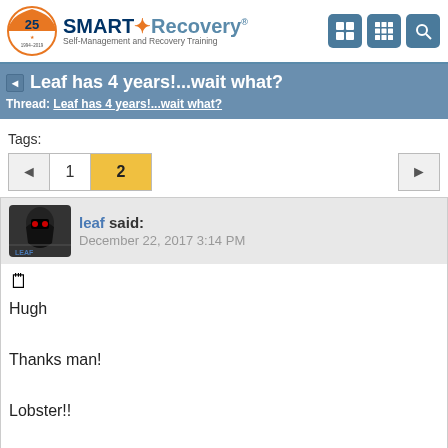[Figure (logo): SMART Recovery logo with 25th anniversary badge (1994-2019), tagline: Self-Management and Recovery Training]
Leaf has 4 years!...wait what?
Thread: Leaf has 4 years!...wait what?
Tags:
1  2
leaf said:
December 22, 2017 3:14 PM
Hugh

Thanks man!

Lobster!!

Thanks sop much!
Sobriety Date 12/16/2012